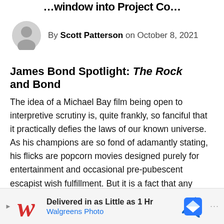…window into Project Co…
By Scott Patterson on October 8, 2021
James Bond Spotlight: The Rock and Bond
The idea of a Michael Bay film being open to interpretive scrutiny is, quite frankly, so fanciful that it practically defies the laws of our known universe. As his champions are so fond of adamantly stating, his flicks are popcorn movies designed purely for entertainment and occasional pre-pubescent escapist wish fulfillment. But it is a fact that any story, no matter how limited or lacking in gravitas, can be twisted and turned to resemble something else entirely. It is a type of defense mechanism to psychologically overcome the trauma of
Delivered in as Little as 1 Hr
Walgreens Photo